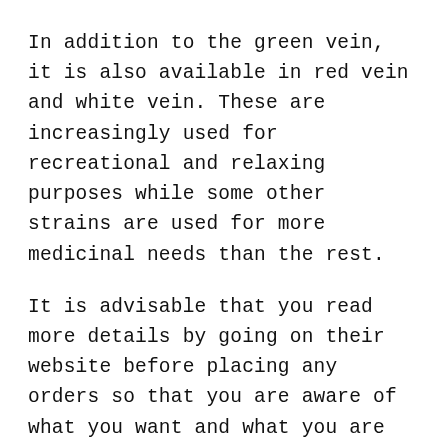In addition to the green vein, it is also available in red vein and white vein. These are increasingly used for recreational and relaxing purposes while some other strains are used for more medicinal needs than the rest.
It is advisable that you read more details by going on their website before placing any orders so that you are aware of what you want and what you are getting from them.
Platinum Kay Kratom Extract
Available for $11 to 45$ depending on the quantity you order; this is one of their key